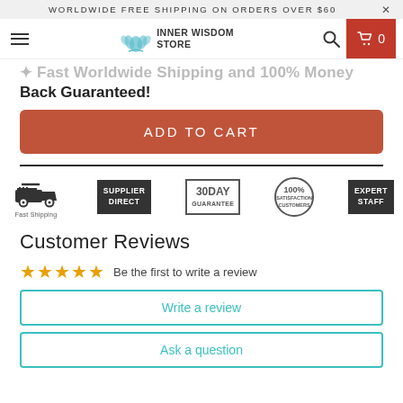WORLDWIDE FREE SHIPPING ON ORDERS OVER $60  ×
[Figure (screenshot): Inner Wisdom Store navigation bar with hamburger menu, lotus logo, search icon, and cart button showing 0 items]
Fast Worldwide Shipping and 100% Money Back Guaranteed!
ADD TO CART
[Figure (infographic): Five trust badges: Fast Shipping (delivery truck icon), Supplier Direct, 30 Day Guarantee, 100% Satisfaction Customers, Expert Staff]
Customer Reviews
☆☆☆☆☆  Be the first to write a review
Write a review
Ask a question